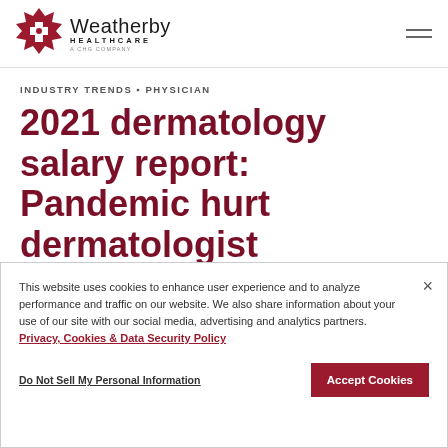Weatherby Healthcare – A CHG Company
INDUSTRY TRENDS ▪ PHYSICIAN
2021 dermatology salary report: Pandemic hurt dermatologist compensation
This website uses cookies to enhance user experience and to analyze performance and traffic on our website. We also share information about your use of our site with our social media, advertising and analytics partners. Privacy, Cookies & Data Security Policy
Do Not Sell My Personal Information
Accept Cookies